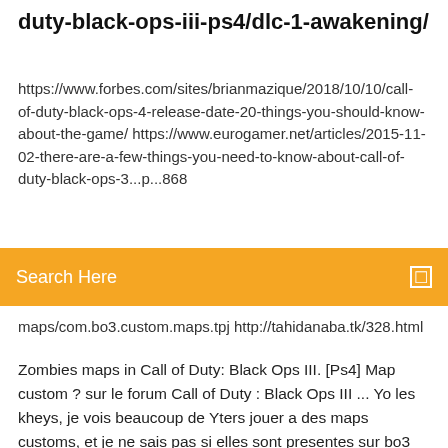duty-black-ops-iii-ps4/dlc-1-awakening/
https://www.forbes.com/sites/brianmazique/2018/10/10/call-of-duty-black-ops-4-release-date-20-things-you-should-know-about-the-game/ https://www.eurogamer.net/articles/2015-11-02-there-are-a-few-things-you-need-to-know-about-call-of-duty-black-ops-3...p...868
Search Here
maps/com.bo3.custom.maps.tpj http://tahidanaba.tk/328.html
Zombies maps in Call of Duty: Black Ops III. [Ps4] Map custom ? sur le forum Call of Duty : Black Ops III ... Yo les kheys, je vois beaucoup de Yters jouer a des maps customs, et je ne sais pas si elles sont presentes sur bo3 car y'a des maps avec les atouts de bo3 etc... Voila merci les freros - Topic ... Black Ops 1 & Black Ops 3 Custom zombies! news - Mod DB The tools are going to give the community the ability to develop custom maps